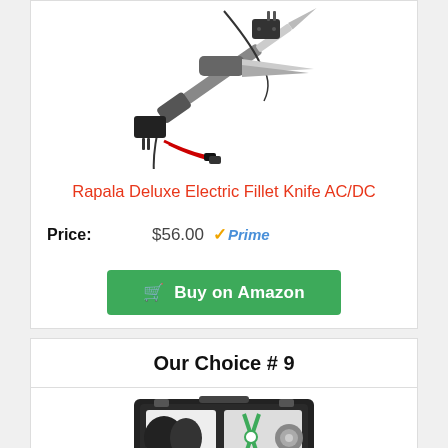[Figure (photo): Rapala Deluxe Electric Fillet Knife AC/DC product photo showing knife, cord, charger, and accessories]
Rapala Deluxe Electric Fillet Knife AC/DC
Price: $56.00 Prime
Buy on Amazon
Our Choice # 9
[Figure (photo): Product photo of a knife/tool set in a carrying case with gloves and scissors]